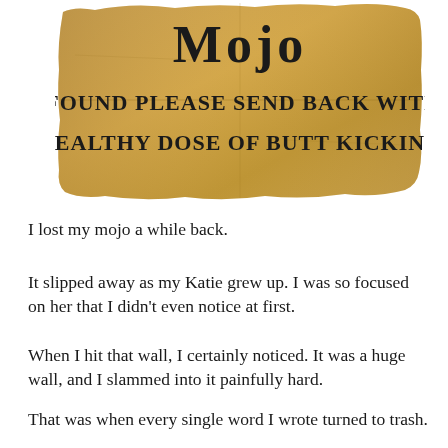[Figure (illustration): A cardboard sign with handwritten-style text reading 'MOJO' at the top in large letters, then 'IF FOUND PLEASE SEND BACK WITH A HEALTHY DOSE OF BUTT KICKING' below in smaller uppercase letters. The cardboard has a worn, tan/brown texture with fold marks.]
I lost my mojo a while back.
It slipped away as my Katie grew up. I was so focused on her that I didn't even notice at first.
When I hit that wall, I certainly noticed. It was a huge wall, and I slammed into it painfully hard.
That was when every single word I wrote turned to trash.
I desperately sifted through the garbage pile of